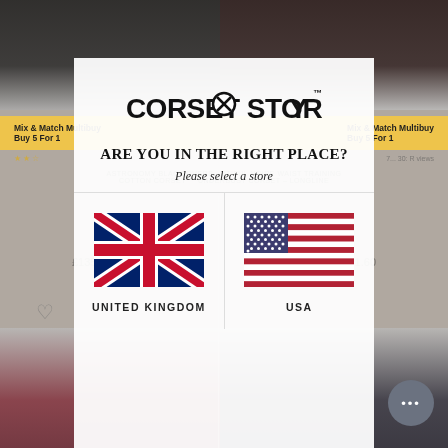[Figure (screenshot): Background showing a fashion e-commerce website (Corset Story) with product images of corsets, a yellow Mix & Match Multibuy banner, star ratings, and product names. Two corset products are partially visible on left and right sides.]
[Figure (infographic): Modal overlay dialog on the Corset Story website asking users to select their regional store. Contains the Corset Story logo at top, headline 'ARE YOU IN THE RIGHT PLACE?', subtitle 'Please select a store', and two flag options: United Kingdom (Union Jack flag) and USA (American flag).]
CORSET STORY™
ARE YOU IN THE RIGHT PLACE?
Please select a store
UNITED KINGDOM
USA